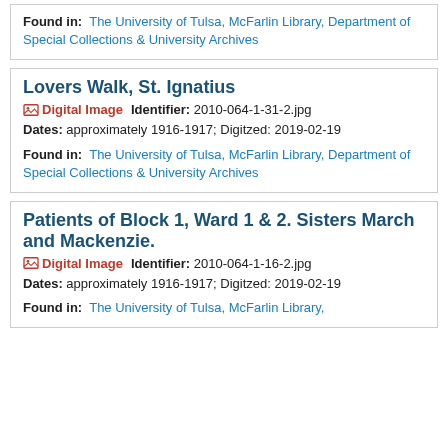Found in: The University of Tulsa, McFarlin Library, Department of Special Collections & University Archives
Lovers Walk, St. Ignatius
Digital Image   Identifier: 2010-064-1-31-2.jpg
Dates: approximately 1916-1917; Digitzed: 2019-02-19
Found in: The University of Tulsa, McFarlin Library, Department of Special Collections & University Archives
Patients of Block 1, Ward 1 & 2. Sisters March and Mackenzie.
Digital Image   Identifier: 2010-064-1-16-2.jpg
Dates: approximately 1916-1917; Digitzed: 2019-02-19
Found in: The University of Tulsa, McFarlin Library,